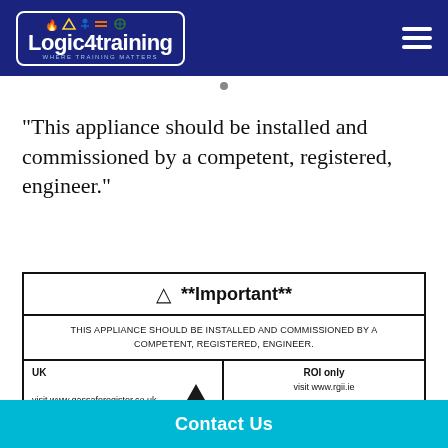[Figure (logo): Logic4training logo — white text on dark blue background with colorful icons and border, tagline 'Where Training Matters']
“This appliance should be installed and commissioned by a competent, registered, engineer.”
| ⚠ **Important** |
| --- |
| THIS APPLIANCE SHOULD BE INSTALLED AND COMMISSIONED BY A COMPETENT, REGISTERED, ENGINEER. |
| UK
visit www.gassaferegister.co.uk [Gas Safe logo] | ROI only
visit www.rgii.ie |
Contact Us